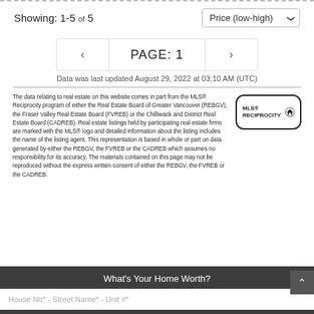Showing: 1-5 of 5
Price (low-high)
PAGE: 1
Data was last updated August 29, 2022 at 03:10 AM (UTC)
The data relating to real estate on this website comes in part from the MLS® Reciprocity program of either the Real Estate Board of Greater Vancouver (REBGV), the Fraser Valley Real Estate Board (FVREB) or the Chilliwack and District Real Estate Board (CADREB). Real estate listings held by participating real estate firms are marked with the MLS® logo and detailed information about the listing includes the name of the listing agent. This representation is based in whole or part on data generated by either the REBGV, the FVREB or the CADREB which assumes no responsibility for its accuracy. The materials contained on this page may not be reproduced without the express written consent of either the REBGV, the FVREB or the CADREB.
[Figure (logo): MLS Reciprocity logo with house icon in a rounded rectangle border]
What's Your Home Worth?
House No* - Street Name* - Unit #*